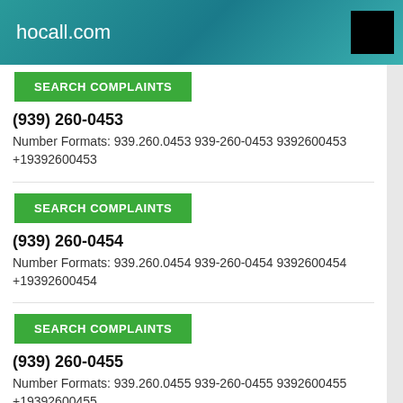hocall.com
SEARCH COMPLAINTS
(939) 260-0453
Number Formats: 939.260.0453 939-260-0453 9392600453 +19392600453
SEARCH COMPLAINTS
(939) 260-0454
Number Formats: 939.260.0454 939-260-0454 9392600454 +19392600454
SEARCH COMPLAINTS
(939) 260-0455
Number Formats: 939.260.0455 939-260-0455 9392600455 +19392600455
SEARCH COMPLAINTS
(939) 260-0456
Number Formats: 939.260.0456 939-260-0456 9392600456 +19392600456